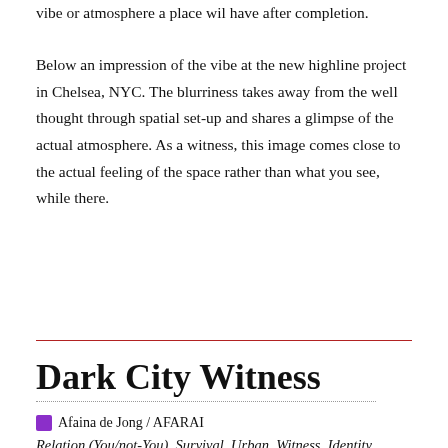vibe or atmosphere a place wil have after completion.
Below an impression of the vibe at the new highline project in Chelsea, NYC. The blurriness takes away from the well thought through spatial set-up and shares a glimpse of the actual atmosphere. As a witness, this image comes close to the actual feeling of the space rather than what you see, while there.
Dark City Witness
Afaina de Jong / AFARAI
Relation (You/not-You), Survival, Urban, Witness, Identity, Testimony
[Figure (photo): Dark nighttime photo showing silhouettes of people in an urban setting with green and red lighting]
The dark side of urban life is part of the ying-yang balance of every major city. In the darkness people come together, get left behind or rush off to unknown destinations. In my